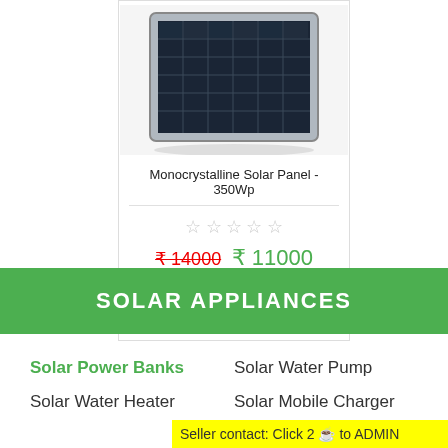[Figure (photo): Monocrystalline Solar Panel product photo showing a rectangular solar panel with grid pattern]
Monocrystalline Solar Panel - 350Wp
☆☆☆☆☆ (star rating, no stars filled)
₹14000  ₹ 11000
Buy Now
SOLAR APPLIANCES
Solar Power Banks
Solar Water Pump
Solar Water Heater
Solar Mobile Charger
Seller contact: Click 2 🔵 to ADMIN